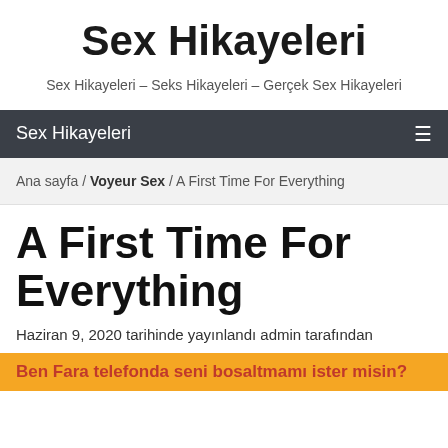Sex Hikayeleri
Sex Hikayeleri – Seks Hikayeleri – Gerçek Sex Hikayeleri
Sex Hikayeleri
Ana sayfa / Voyeur Sex / A First Time For Everything
A First Time For Everything
Haziran 9, 2020 tarihinde yayınlandı admin tarafından
Ben Fara telefonda seni bosaltmamı ister misin?